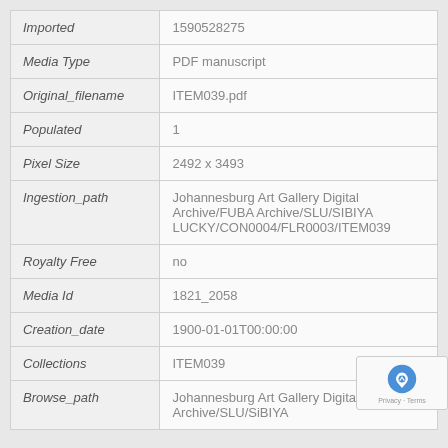| Field | Value |
| --- | --- |
| Imported | 1590528275 |
| Media Type | PDF manuscript |
| Original_filename | ITEM039.pdf |
| Populated | 1 |
| Pixel Size | 2492 x 3493 |
| Ingestion_path | Johannesburg Art Gallery Digital Archive/FUBA Archive/SLU/SIBIYA LUCKY/CON0004/FLR0003/ITEM039 |
| Royalty Free | no |
| Media Id | 1821_2058 |
| Creation_date | 1900-01-01T00:00:00 |
| Collections | ITEM039 |
| Browse_path | Johannesburg Art Gallery Digital Archive/F Archive/SLU/SiBIYA |